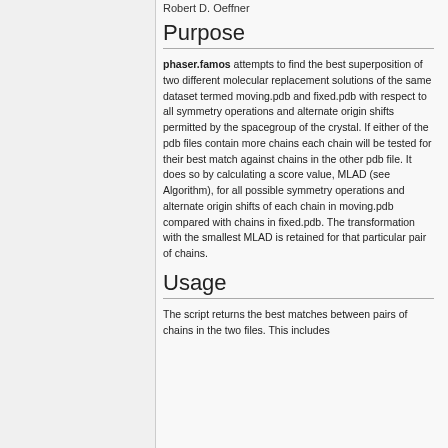Robert D. Oeffner
Purpose
phaser.famos attempts to find the best superposition of two different molecular replacement solutions of the same dataset termed moving.pdb and fixed.pdb with respect to all symmetry operations and alternate origin shifts permitted by the spacegroup of the crystal. If either of the pdb files contain more chains each chain will be tested for their best match against chains in the other pdb file. It does so by calculating a score value, MLAD (see Algorithm), for all possible symmetry operations and alternate origin shifts of each chain in moving.pdb compared with chains in fixed.pdb. The transformation with the smallest MLAD is retained for that particular pair of chains.
Usage
The script returns the best matches between pairs of chains in the two files. This includes